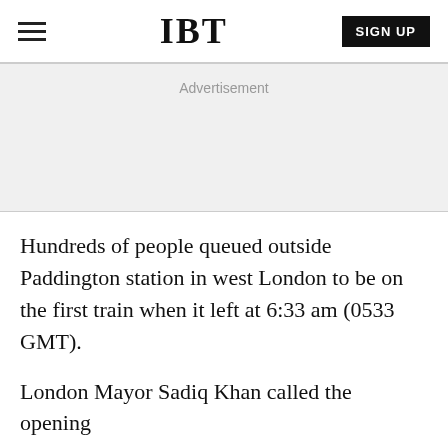IBT
Advertisement
Hundreds of people queued outside Paddington station in west London to be on the first train when it left at 6:33 am (0533 GMT).
London Mayor Sadiq Khan called the opening